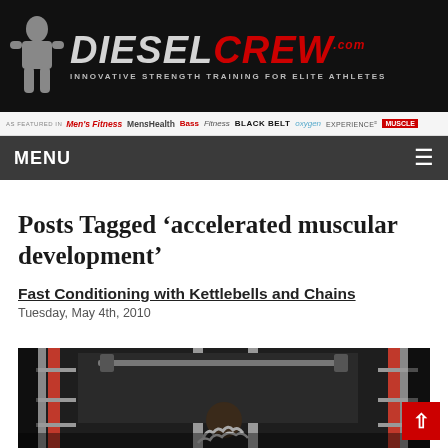DIESELCREW.COM — INNOVATIVE STRENGTH TRAINING FOR ELITE ATHLETES
AS FEATURED IN: Men's Fitness, Men's Health, Bass, Fitness, BLACK BELT, oxygen, EXPERIENCE, MUSCLE
MENU
Posts Tagged ‘accelerated muscular development’
Fast Conditioning with Kettlebells and Chains
Tuesday, May 4th, 2010
[Figure (photo): Person performing exercise with chains in a gym with power rack equipment in background]